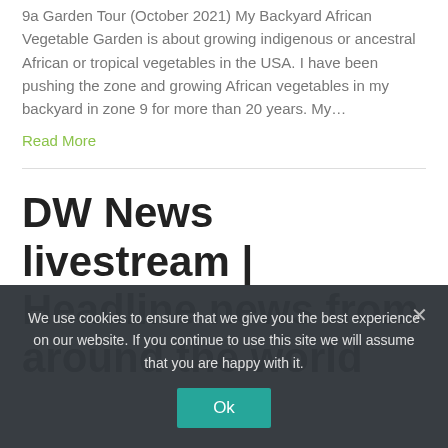9a Garden Tour (October 2021) My Backyard African Vegetable Garden is about growing indigenous or ancestral African or tropical vegetables in the USA. I have been pushing the zone and growing African vegetables in my backyard in zone 9 for more than 20 years. My…
Read More
DW News livestream | Headline news from around the world
We use cookies to ensure that we give you the best experience on our website. If you continue to use this site we will assume that you are happy with it.